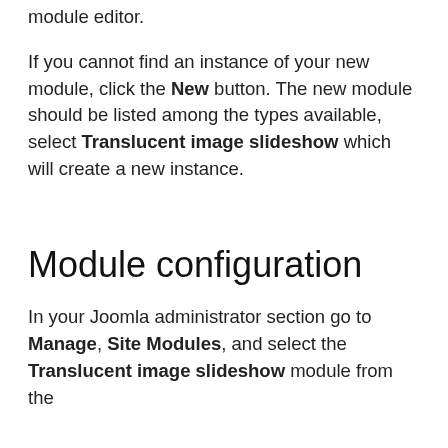module editor.
If you cannot find an instance of your new module, click the New button. The new module should be listed among the types available, select Translucent image slideshow which will create a new instance.
Module configuration
In your Joomla administrator section go to Manage, Site Modules, and select the Translucent image slideshow module from the